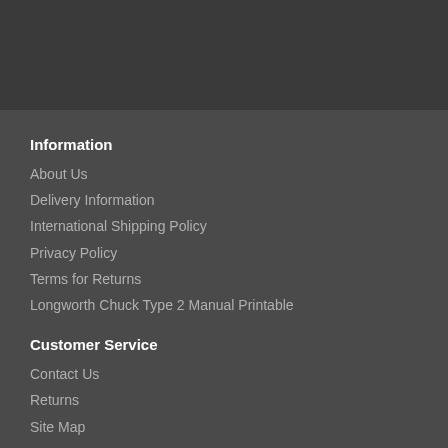Information
About Us
Delivery Information
International Shipping Policy
Privacy Policy
Terms for Returns
Longworth Chuck Type 2 Manual Printable
Customer Service
Contact Us
Returns
Site Map
Extras
Downloads
Brands